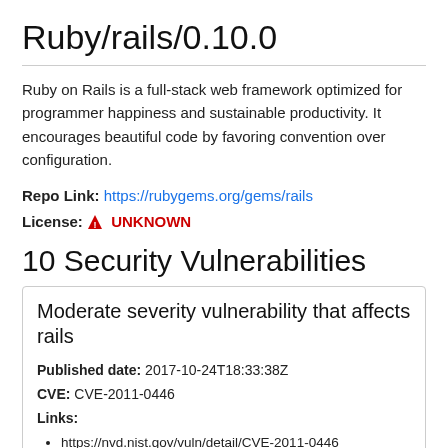Ruby/rails/0.10.0
Ruby on Rails is a full-stack web framework optimized for programmer happiness and sustainable productivity. It encourages beautiful code by favoring convention over configuration.
Repo Link: https://rubygems.org/gems/rails
License: ⚠ UNKNOWN
10 Security Vulnerabilities
Moderate severity vulnerability that affects rails
Published date: 2017-10-24T18:33:38Z
CVE: CVE-2011-0446
Links:
• https://nvd.nist.gov/vuln/detail/CVE-2011-0446
• https://github.com/advisories/GHSA-75w6-p6mg-vh8j